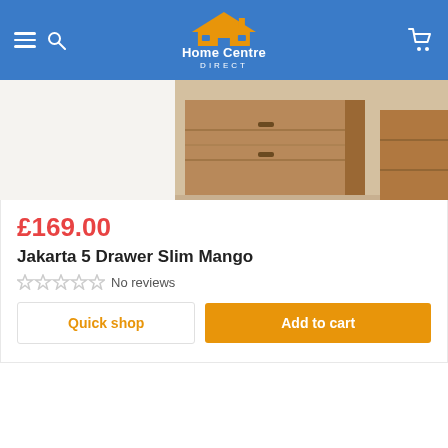Home Centre Direct
[Figure (photo): Product photo of a wooden nightstand/drawer unit (Jakarta 5 Drawer Slim Mango) shown in a bedroom setting]
£169.00
Jakarta 5 Drawer Slim Mango
No reviews
Quick shop
Add to cart